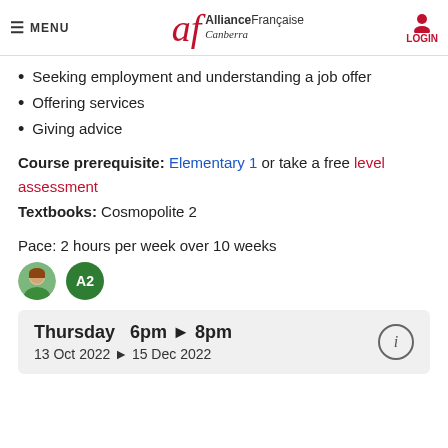MENU | Alliance Française Canberra | LOGIN
Seeking employment and understanding a job offer
Offering services
Giving advice
Course prerequisite: Elementary 1 or take a free level assessment
Textbooks: Cosmopolite 2
Pace: 2 hours per week over 10 weeks
[Figure (other): Instructor photo thumbnail and A2 level badge (green circle)]
Thursday   6pm ▶ 8pm
13 Oct 2022 ▶ 15 Dec 2022